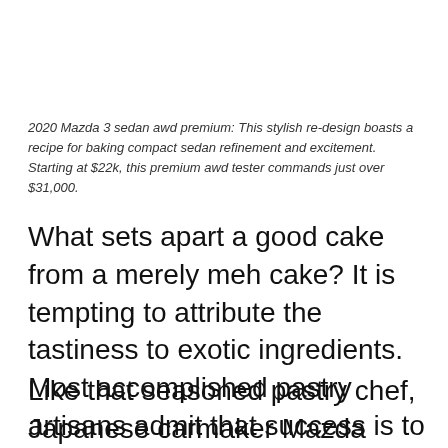2020 Mazda 3 sedan awd premium: This stylish re-design boasts a recipe for baking compact sedan refinement and excitement. Starting at $22k, this premium awd tester commands just over $31,000.
What sets apart a good cake from a merely meh cake? It is tempting to attribute the tastiness to exotic ingredients. Most accomplished pastry artisans admit that success is to be found in that recipe containing the utmost of preparation and care in execution.
Like that seasoned pastry chef, Japanese carmaker Mazda doesn't count on merely exotic ingredients. Kaizen (constant refinement) and